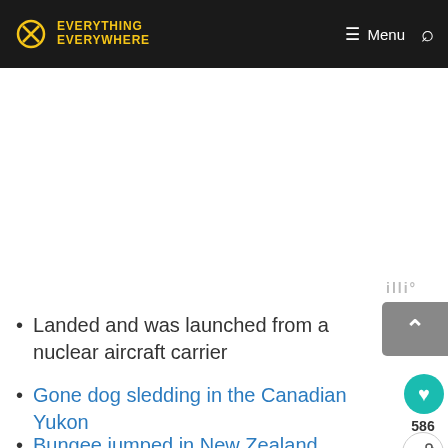Everything Everywhere — Menu
Landed and was launched from a nuclear aircraft carrier
Gone dog sledding in the Canadian Yukon
Bungee jumped in New Zealand